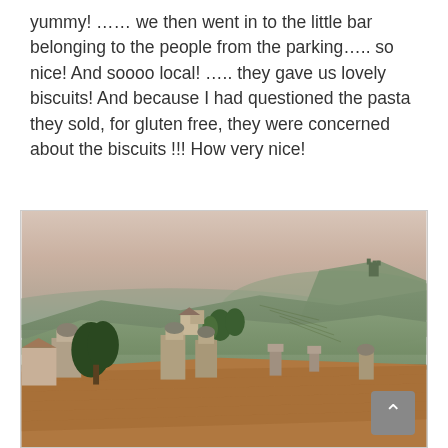yummy! …… we then went in to the little bar belonging to the people from the parking….. so nice!  And soooo local!  ….. they gave us lovely biscuits! And because I had questioned the pasta they sold, for gluten free, they were concerned about the biscuits !!!  How very nice!
[Figure (photo): Panoramic view of an Italian hilltop village at dusk, showing terracotta tiled rooftops with chimneys and towers in the foreground, rolling green vineyard hills in the middle ground, and a hazy pinkish-grey sky in the background. A hilltop castle or structure is visible in the distance on the right.]